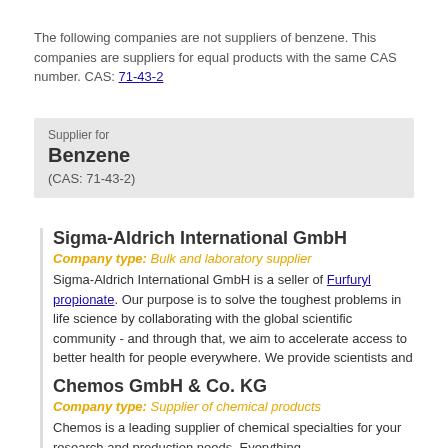The following companies are not suppliers of benzene. This companies are suppliers for equal products with the same CAS number. CAS: 71-43-2
Supplier for Benzene (CAS: 71-43-2)
Sigma-Aldrich International GmbH
Company type: Bulk and laboratory supplier
Sigma-Aldrich International GmbH is a seller of Furfuryl propionate. Our purpose is to solve the toughest problems in life science by collaborating with the global scientific community - and through that, we aim to accelerate access to better health for people everywhere. We provide scientists and ...
Country: Switzerland
Phone: +41 81 755 28 28
Telefax: +41 81 755 28 15
» contact details   INQUIRY | ORDER
Chemos GmbH & Co. KG
Company type: Supplier of chemical products
Chemos is a leading supplier of chemical specialties for your research and production needs. Everything